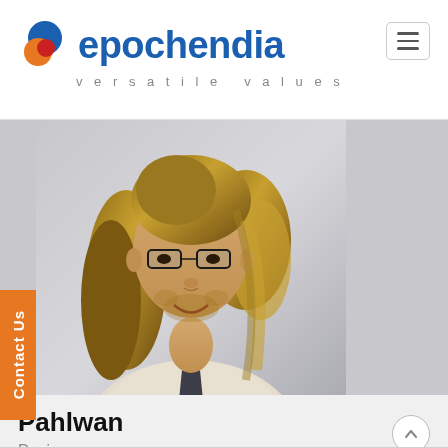[Figure (logo): Epochendia logo with circular icon (blue, orange, red swirl) and text 'epochendia' in blue, tagline 'versatile values' below]
[Figure (photo): Professional headshot of a young man with long brown hair, glasses, wearing a white shirt and dark tie, smiling, against a gray background]
Pahlwan
Designer